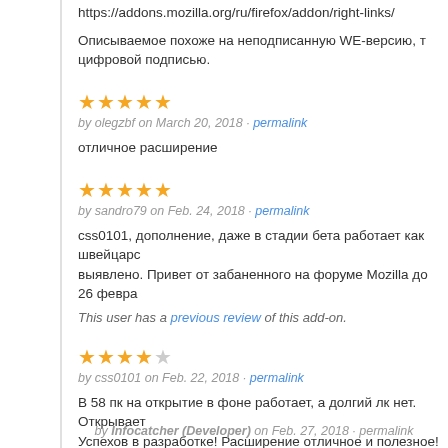https://addons.mozilla.org/ru/firefox/addon/right-links/
Описываемое похоже на неподписанную WE-версию, т... цифровой подписью.
★★★★★
by olegzbf on March 20, 2018 · permalink
отличное расширение
★★★★★
by sandro79 on Feb. 24, 2018 · permalink
css0101, дополнение, даже в стадии бета работает как швейцарс... выявлено. Привет от забаненного на форуме Mozilla до 26 февра...
This user has a previous review of this add-on.
★★★★☆
by css0101 on Feb. 22, 2018 · permalink
В 58 пк на открытие в фоне работает, а долгий лк нет. Открывает... Успехов в разработке! Расширение отличное и полезное!
by Infocatcher (Developer) on Feb. 27, 2018 · permalink